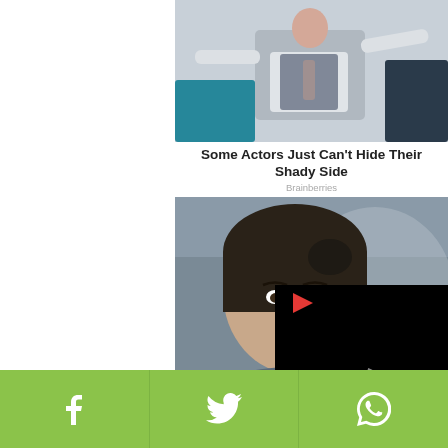[Figure (photo): Person with arms raised wide next to a car, wearing a grey vest and white shirt]
Some Actors Just Can't Hide Their Shady Side
Brainberries
[Figure (photo): Close-up of a woman with dark hair pulled back, serious expression]
Women Who Make A Lot Of Money By Playing Competitive Gaming
[Figure (photo): Partial view of a store exterior with trucks parked outside]
[Figure (screenshot): Video player panel with red play icon and loading spinner on black background]